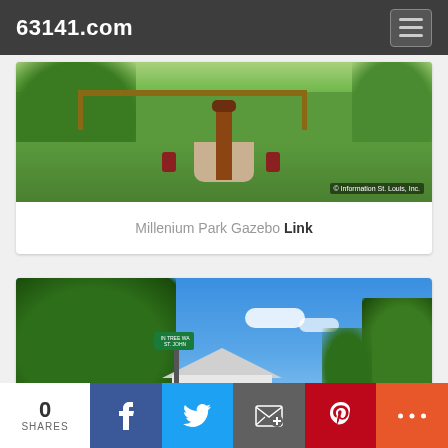63141.com
[Figure (photo): Millenium Park Gazebo photo showing a park with green trees, pergola structure, ornamental wooden post, trash barrels, pathway, and green lawn. Watermark reads: © Information St. Louis, Inc.]
Millenium Park Gazebo Link
[Figure (photo): Outdoor street-level photo showing large green trees against a bright blue sky with white clouds, a street lamp, green street sign, and a white house visible in the background.]
0 SHARES
f (Facebook share button)
(Twitter share button)
(Email share button)
P (Pinterest share button)
+ (More share button)